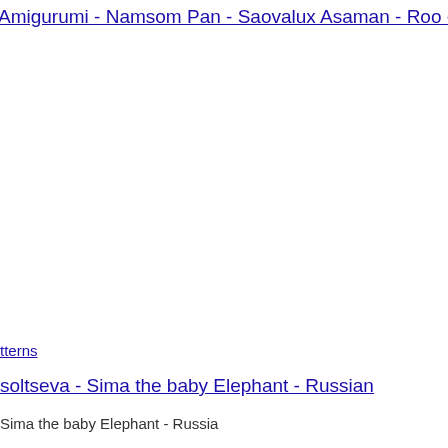Amigurumi - Namsom Pan - Saovalux Asaman - Roo -Russian -
tterns
soltseva - Sima the baby Elephant - Russian
Sima the baby Elephant - Russia